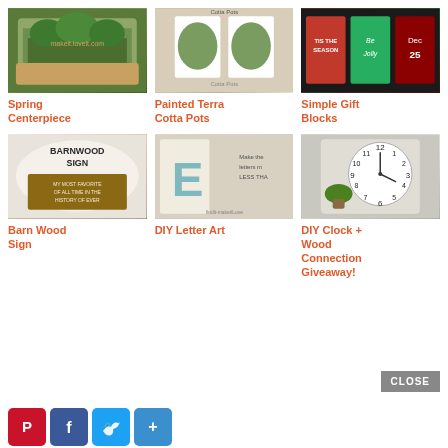[Figure (photo): Spring Centerpiece - green plants in a wooden tray]
Spring Centerpiece
[Figure (photo): Painted Terra Cotta Pots - white painted pots with greenery]
Painted Terra Cotta Pots
[Figure (photo): Simple Gift Blocks - red and green holiday blocks]
Simple Gift Blocks
[Figure (photo): Barn Wood Sign - wooden sign with text]
Barn Wood Sign
[Figure (photo): DIY Letter Art - large letter art on wall]
DIY Letter Art
[Figure (photo): DIY Clock + Wood Connection Giveaway - round white clock]
DIY Clock + Wood Connection Giveaway!